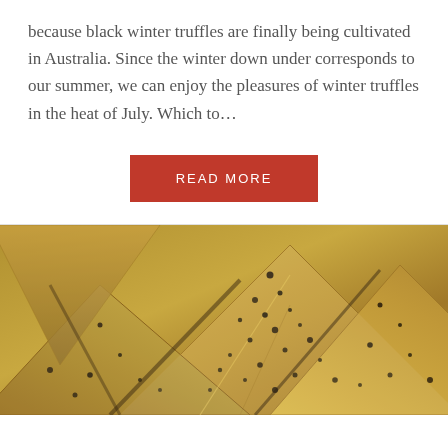because black winter truffles are finally being cultivated in Australia. Since the winter down under corresponds to our summer, we can enjoy the pleasures of winter truffles in the heat of July. Which to...
READ MORE
[Figure (photo): Close-up photo of golden-brown baked pastry triangles with black truffle or pepper speckling on top, arranged on a surface]